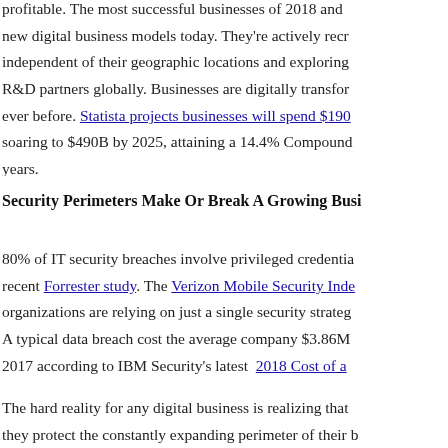profitable. The most successful businesses of 2018 and beyond are inventing new digital business models today. They're actively recruiting talent independent of their geographic locations and exploring new procurement and R&D partners globally. Businesses are digitally transforming at a higher rate than ever before. Statista projects businesses will spend $190B on cloud infrastructure, soaring to $490B by 2025, attaining a 14.4% Compound Annual Growth Rate over 5 years.
Security Perimeters Make Or Break A Growing Business
80% of IT security breaches involve privileged credentials, according to a recent Forrester study. The Verizon Mobile Security Index shows that 48% of organizations are relying on just a single security strategy to protect themselves. A typical data breach cost the average company $3.86M globally, up 6.4% from 2017 according to IBM Security's latest 2018 Cost of a Data Breach Study.
The hard reality for any digital business is realizing that they can no longer just they protect the constantly expanding perimeter of their business. Rather than securing infrastructure that relies on trusted and untrusted network zones, every identity and device that comprises a company's rapidly changing ecosystem... these factors and more are why Zero Trust Security (ZTS)